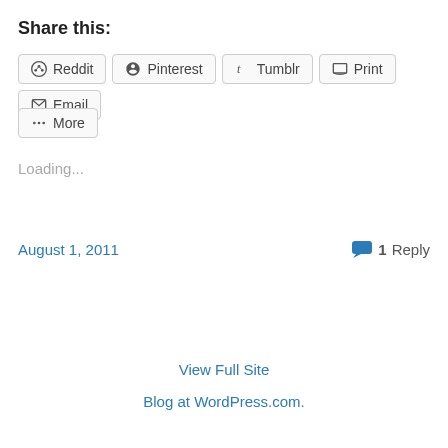Share this:
Reddit  Pinterest  Tumblr  Print  Email  More
Loading...
August 1, 2011   1 Reply
View Full Site
Blog at WordPress.com.